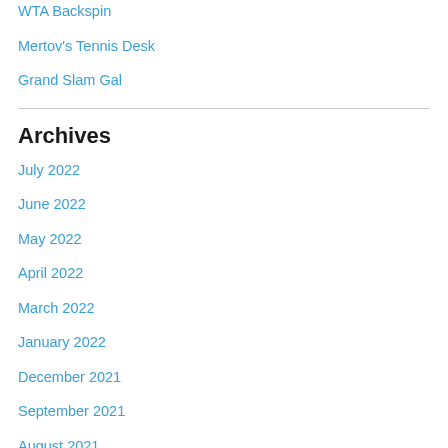WTA Backspin
Mertov's Tennis Desk
Grand Slam Gal
Archives
July 2022
June 2022
May 2022
April 2022
March 2022
January 2022
December 2021
September 2021
August 2021
July 2021
June 2021
May 2021
April 2021